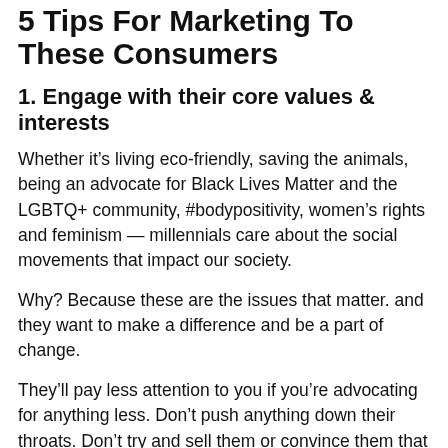5 Tips For Marketing To These Consumers
1. Engage with their core values & interests
Whether it’s living eco-friendly, saving the animals, being an advocate for Black Lives Matter and the LGBTQ+ community, #bodypositivity, women’s rights and feminism — millennials care about the social movements that impact our society.
Why? Because these are the issues that matter. and they want to make a difference and be a part of change.
They’ll pay less attention to you if you’re advocating for anything less. Don’t push anything down their throats. Don’t try and sell them or convince them that they need to support your brand with bells and whistles – they